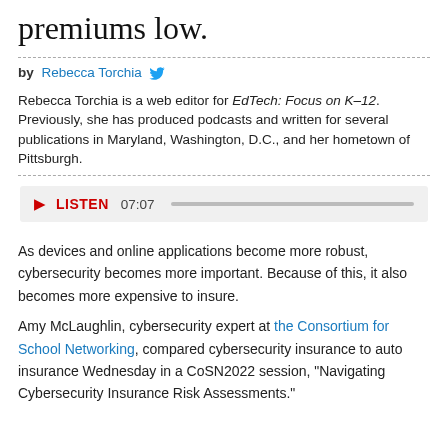premiums low.
by Rebecca Torchia
Rebecca Torchia is a web editor for EdTech: Focus on K–12. Previously, she has produced podcasts and written for several publications in Maryland, Washington, D.C., and her hometown of Pittsburgh.
[Figure (other): Audio player bar with play button, LISTEN label, time 07:07, and progress bar]
As devices and online applications become more robust, cybersecurity becomes more important. Because of this, it also becomes more expensive to insure.
Amy McLaughlin, cybersecurity expert at the Consortium for School Networking, compared cybersecurity insurance to auto insurance Wednesday in a CoSN2022 session, "Navigating Cybersecurity Insurance Risk Assessments."